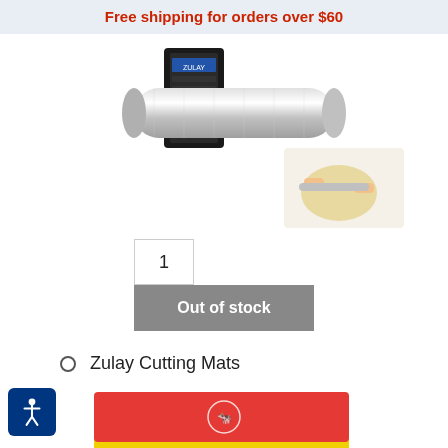Free shipping for orders over $60
[Figure (photo): Product photo of a stainless steel rolling pin with a black box packaging, and an inset image showing hands rolling dough with the pin]
| 1 | Out of stock |
Zulay Cutting Mats
[Figure (photo): Colorful cutting mats in red, yellow, green, and teal stacked together with food icons on them]